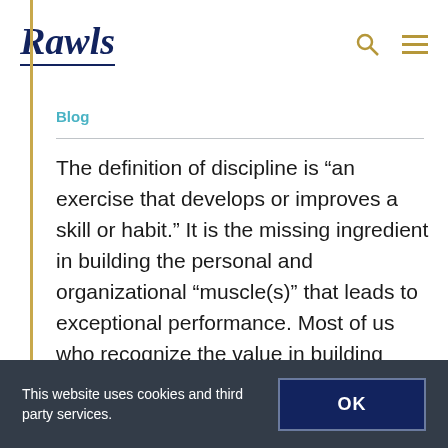Rawls
Blog
The definition of discipline is “an exercise that develops or improves a skill or habit.” It is the missing ingredient in building the personal and organizational “muscle(s)” that leads to exceptional performance. Most of us who recognize the value in building
This website uses cookies and third party services. OK